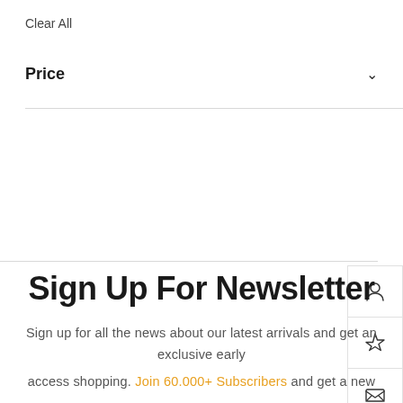Clear All
Price
[Figure (other): Sidebar with three icon buttons: user account icon, star/favorites icon, and envelope/mail icon, stacked vertically with borders]
Sign Up For Newsletter
Sign up for all the news about our latest arrivals and get an exclusive early
access shopping. Join 60.000+ Subscribers and get a new